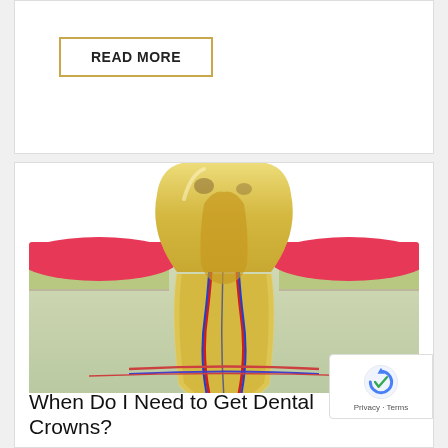READ MORE
[Figure (illustration): Cross-sectional 3D illustration of a human tooth showing internal anatomy including root canals with red and blue nerve/blood vessel lines, yellowish enamel and dentin, pink gum tissue (gingiva), and surrounding jawbone (alveolar bone) in a light green/gray color.]
When Do I Need to Get Dental Crowns?